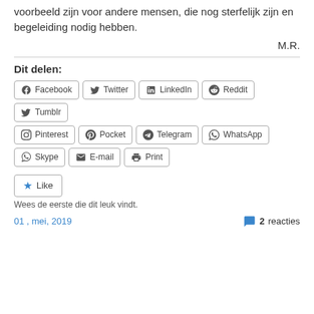voorbeeld zijn voor andere mensen, die nog sterfelijk zijn en begeleiding nodig hebben.
M.R.
Dit delen:
[Figure (infographic): Social sharing buttons: Facebook, Twitter, LinkedIn, Reddit, Tumblr, Pinterest, Pocket, Telegram, WhatsApp, Skype, E-mail, Print]
[Figure (infographic): Like button with blue star icon]
Wees de eerste die dit leuk vindt.
01 , mei, 2019
2 reacties